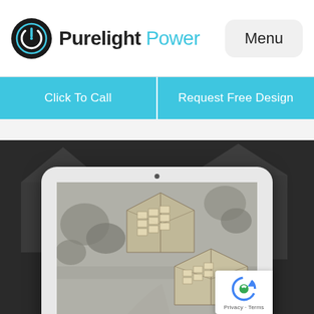[Figure (logo): Purelight Power logo: circular black icon with power symbol, followed by bold text 'Purelight' in dark and 'Power' in light blue]
Menu
Click To Call
Request Free Design
[Figure (screenshot): Dark background section showing a white iPad tablet mockup displaying a solar panel layout design tool with an aerial view of house rooftops with solar panel overlays drawn in cream/tan color. A reCAPTCHA badge is visible in the bottom right corner with 'Privacy · Terms' text.]